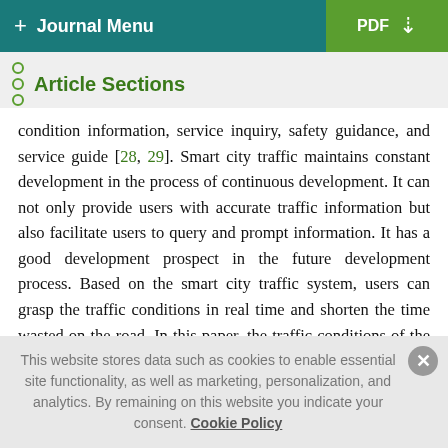+ Journal Menu | PDF
Article Sections
condition information, service inquiry, safety guidance, and service guide [28, 29]. Smart city traffic maintains constant development in the process of continuous development. It can not only provide users with accurate traffic information but also facilitate users to query and prompt information. It has a good development prospect in the future development process. Based on the smart city traffic system, users can grasp the traffic conditions in real time and shorten the time wasted on the road. In this paper, the traffic conditions of the existing key sections are recorded and photographed, and a reasonable analysis method is adopted to classify the road levels, so as to facilitate
This website stores data such as cookies to enable essential site functionality, as well as marketing, personalization, and analytics. By remaining on this website you indicate your consent. Cookie Policy